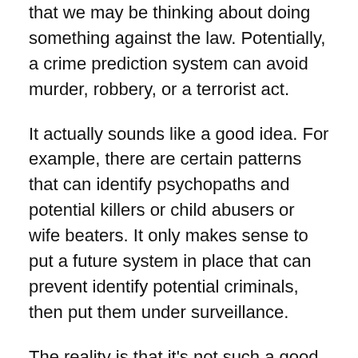that we may be thinking about doing something against the law. Potentially, a crime prediction system can avoid murder, robbery, or a terrorist act.
It actually sounds like a good idea. For example, there are certain patterns that can identify psychopaths and potential killers or child abusers or wife beaters. It only makes sense to put a future system in place that can prevent identify potential criminals, then put them under surveillance.
The reality is that it’s not such a good idea: While everything may seem driven by the desire to achieve better security, one single false positive would make the whole system unfair. And that’s not even getting into the potential abuse of such a system. Like the last time IBM got into a vaguely similar business for a good cause,